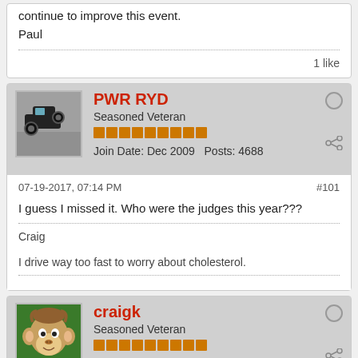continue to improve this event.
Paul
1 like
PWR RYD
Seasoned Veteran
Join Date: Dec 2009   Posts: 4688
07-19-2017, 07:14 PM
#101
I guess I missed it. Who were the judges this year???
Craig
I drive way too fast to worry about cholesterol.
craigk
Seasoned Veteran
Join Date: May 2012   Posts: 3889